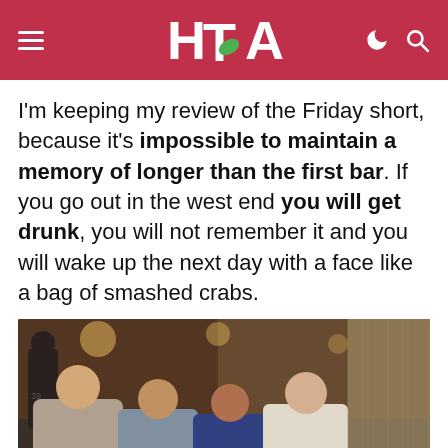HTA logo with navigation menu, moon/dark-mode icon, and search icon
I'm keeping my review of the Friday short, because it's impossible to maintain a memory of longer than the first bar. If you go out in the west end you will get drunk, you will not remember it and you will wake up the next day with a face like a bag of smashed crabs.
[Figure (photo): Four men posing together outdoors at night on a busy street, giving thumbs up, smiling at camera]